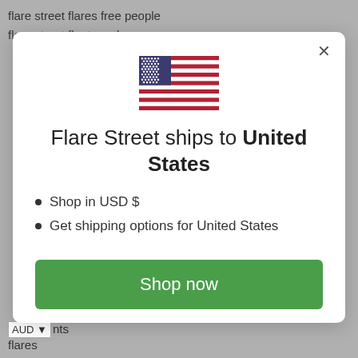flare street flares free people
flare street fleetwood mac
[Figure (illustration): Modal dialog box with US flag icon, heading 'Flare Street ships to United States', bullet points, green Shop now button, and Change shipping country link]
AUD ▾ nts
flares